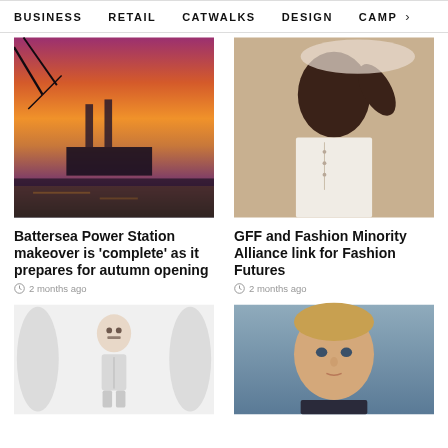BUSINESS   RETAIL   CATWALKS   DESIGN   CAMP >
[Figure (photo): Battersea Power Station at sunset with colorful orange and pink sky, river and bridge in foreground]
Battersea Power Station makeover is 'complete' as it prepares for autumn opening
2 months ago
[Figure (photo): Black woman in white outfit holding umbrella or parasol above her head, fashion editorial]
GFF and Fashion Minority Alliance link for Fashion Futures
2 months ago
[Figure (photo): Small robot or toy figure with human-like face wearing white racing suit, with blurred figures on sides]
[Figure (photo): Blonde man looking directly at camera against grey-blue background, portrait photo]